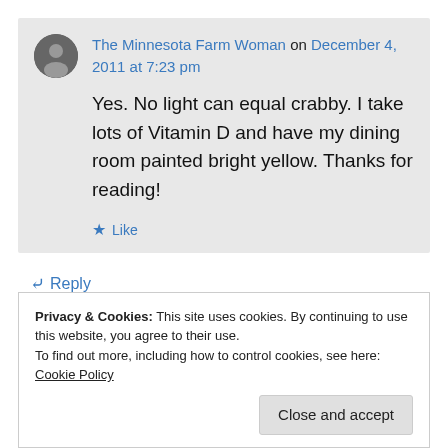The Minnesota Farm Woman on December 4, 2011 at 7:23 pm
Yes. No light can equal crabby. I take lots of Vitamin D and have my dining room painted bright yellow. Thanks for reading!
Like
Reply
Privacy & Cookies: This site uses cookies. By continuing to use this website, you agree to their use.
To find out more, including how to control cookies, see here: Cookie Policy
Close and accept